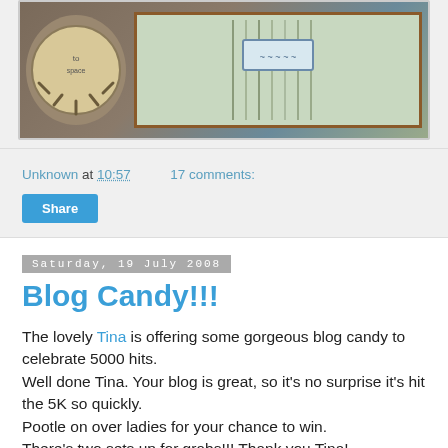[Figure (photo): Handmade greeting card with orange frame, brown polka-dot background, circular sun/flower element on left, striped paper panel on right, shown at an angle on a light surface]
Unknown at 10:57   17 comments:
Share
Saturday, 19 July 2008
Blog Candy!!!
The lovely Tina is offering some gorgeous blog candy to celebrate 5000 hits.
Well done Tina. Your blog is great, so it's no surprise it's hit the 5K so quickly.
Pootle on over ladies for your chance to win.
There's two sets up for grabs!!! Thank you Tina!